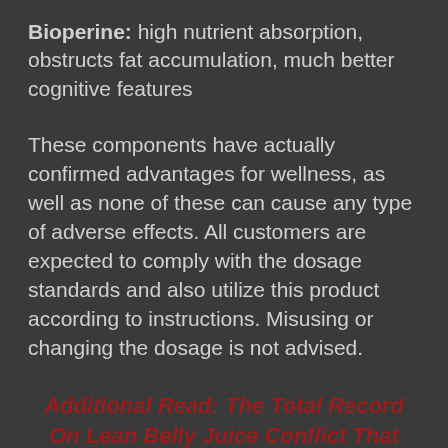Bioperine: high nutrient absorption, obstructs fat accumulation, much better cognitive features
These components have actually confirmed advantages for wellness, as well as none of these can cause any type of adverse effects. All customers are expected to comply with the dosage standards and also utilize this product according to instructions. Misusing or changing the dosage is not advised.
Additional Read: The Total Record On Lean Belly Juice Conflict That Will Strike Your Mind
Despite being a natural formula, Ikaria Lean Belly Juice is not safe for underage people, pregnant